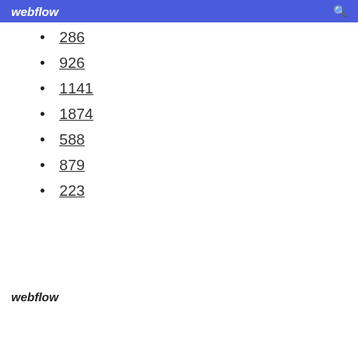webflow
286
926
1141
1874
588
879
223
webflow